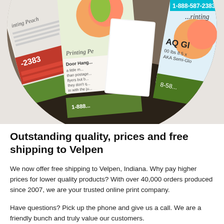[Figure (photo): A circular cropped photo showing a fan of printed marketing brochures and flyers. Visible text on the brochures includes 'Printing Peach', '905-', '1-888-587-2383', 'Door Hang...', 'AQ Gl...', '00 lbs 8.5 x', 'AKA Semi-Glo', '-2383', '1-888'. The brochures feature peach/apple fruit imagery and green/red/white colors.]
Outstanding quality, prices and free shipping to Velpen
We now offer free shipping to Velpen, Indiana. Why pay higher prices for lower quality products? With over 40,000 orders produced since 2007, we are your trusted online print company.
Have questions? Pick up the phone and give us a call. We are a friendly bunch and truly value our customers.